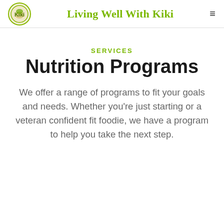Living Well With Kiki
SERVICES
Nutrition Programs
We offer a range of programs to fit your goals and needs. Whether you're just starting or a veteran confident fit foodie, we have a program to help you take the next step.